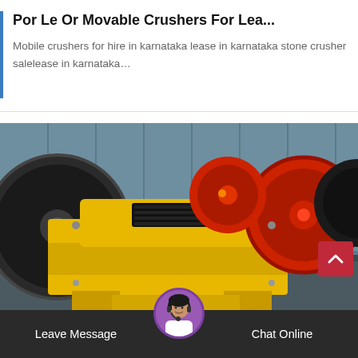Por Le Or Movable Crushers For Lea...
Mobile crushers for hire in karnataka lease in karnataka stone crusher salelease in karnataka…
[Figure (photo): Yellow industrial jaw crusher machine with large black flywheels and red pulley, photographed inside an industrial building with blue corrugated metal walls.]
Leave Message
Chat Online